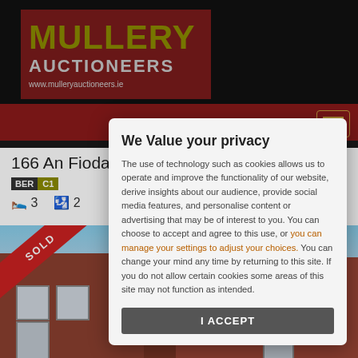[Figure (screenshot): Mullery Auctioneers website header with dark red logo background, site navigation bar, property listing for 166 An Fiodan, Doughiska, Galway showing Sold status, BER C1 rating, 3 bedrooms, 2 bathrooms, and a photo of a red brick house with SOLD ribbon overlay. A privacy consent modal dialog overlays the page.]
We Value your privacy
The use of technology such as cookies allows us to operate and improve the functionality of our website, derive insights about our audience, provide social media features, and personalise content or advertising that may be of interest to you. You can choose to accept and agree to this use, or you can manage your settings to adjust your choices. You can change your mind any time by returning to this site. If you do not allow certain cookies some areas of this site may not function as intended.
I ACCEPT